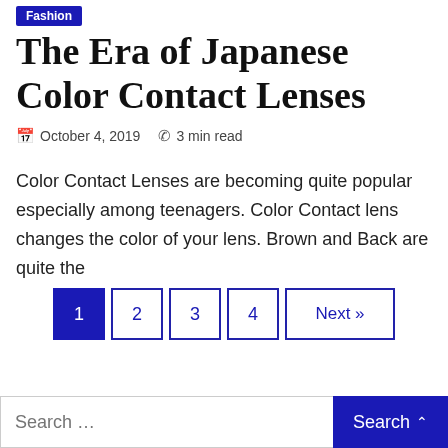Fashion
The Era of Japanese Color Contact Lenses
October 4, 2019  3 min read
Color Contact Lenses are becoming quite popular especially among teenagers. Color Contact lens changes the color of your lens. Brown and Back are quite the
1
2
3
4
Next »
Search …